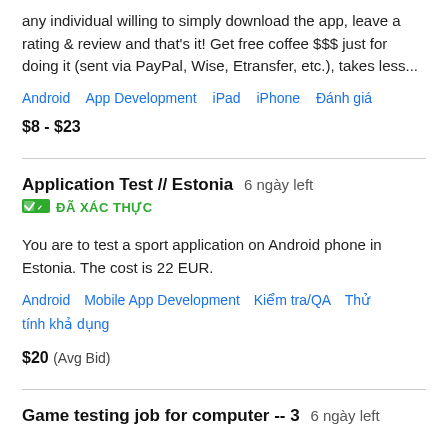any individual willing to simply download the app, leave a rating & review and that's it! Get free coffee $$$ just for doing it (sent via PayPal, Wise, Etransfer, etc.), takes less...
Android  App Development  iPad  iPhone  Đánh giá
$8 - $23
Application Test // Estonia  6 ngày left
ĐÃ XÁC THỰC
You are to test a sport application on Android phone in Estonia. The cost is 22 EUR.
Android  Mobile App Development  Kiểm tra/QA  Thử tính khả dụng
$20  (Avg Bid)
Game testing job for computer -- 3  6 ngày left